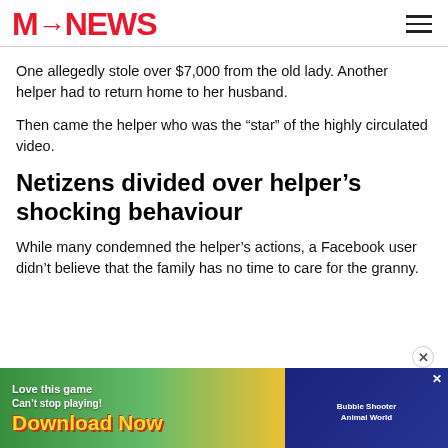MustShare NEWS
One allegedly stole over $7,000 from the old lady. Another helper had to return home to her husband.
Then came the helper who was the “star” of the highly circulated video.
Netizens divided over helper’s shocking behaviour
While many condemned the helper’s actions, a Facebook user didn’t believe that the family has no time to care for the granny.
[Figure (other): Mobile advertisement banner: colorful game ad reading 'Love this game Can't stop playing! Download Now' with Bubble Shooter Animal World game imagery]